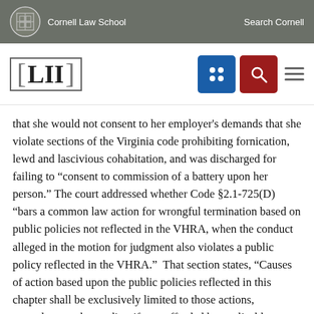Cornell Law School   Search Cornell
[Figure (logo): LII Legal Information Institute logo with navigation icons]
that she would not consent to her employer’s demands that she violate sections of the Virginia code prohibiting fornication, lewd and lascivious cohabitation, and was discharged for failing to “consent to commission of a battery upon her person.” The court addressed whether Code §2.1-725(D) “bars a common law action for wrongful termination based on public policies not reflected in the VHRA, when the conduct alleged in the motion for judgment also violates a public policy reflected in the VHRA.”  That section states, “Causes of action based upon the public policies reflected in this chapter shall be exclusively limited to those actions, procedures and remedies, if any, afforded by applicable federal or